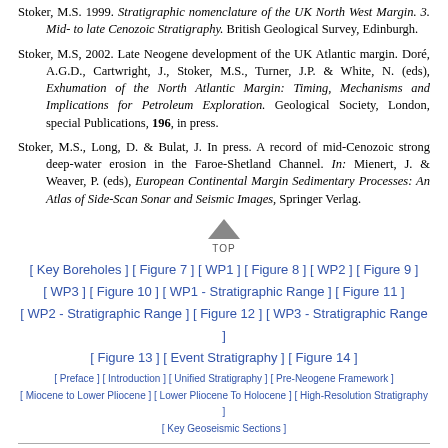Stoker, M.S. 1999. Stratigraphic nomenclature of the UK North West Margin. 3. Mid- to late Cenozoic Stratigraphy. British Geological Survey, Edinburgh.
Stoker, M.S, 2002. Late Neogene development of the UK Atlantic margin. Doré, A.G.D., Cartwright, J., Stoker, M.S., Turner, J.P. & White, N. (eds), Exhumation of the North Atlantic Margin: Timing, Mechanisms and Implications for Petroleum Exploration. Geological Society, London, special Publications, 196, in press.
Stoker, M.S., Long, D. & Bulat, J. In press. A record of mid-Cenozoic strong deep-water erosion in the Faroe-Shetland Channel. In: Mienert, J. & Weaver, P. (eds), European Continental Margin Sedimentary Processes: An Atlas of Side-Scan Sonar and Seismic Images, Springer Verlag.
[Figure (other): TOP navigation arrow icon pointing upward with label TOP]
[ Key Boreholes ] [ Figure 7 ] [ WP1 ] [ Figure 8 ] [ WP2 ] [ Figure 9 ] [ WP3 ] [ Figure 10 ] [ WP1 - Stratigraphic Range ] [ Figure 11 ] [ WP2 - Stratigraphic Range ] [ Figure 12 ] [ WP3 - Stratigraphic Range ] [ Figure 13 ] [ Event Stratigraphy ] [ Figure 14 ]
[ Preface ] [ Introduction ] [ Unified Stratigraphy ] [ Pre-Neogene Framework ] [ Miocene to Lower Pliocene ] [ Lower Pliocene To Holocene ] [ High-Resolution Stratigraphy ] [ Key Geoseismic Sections ]